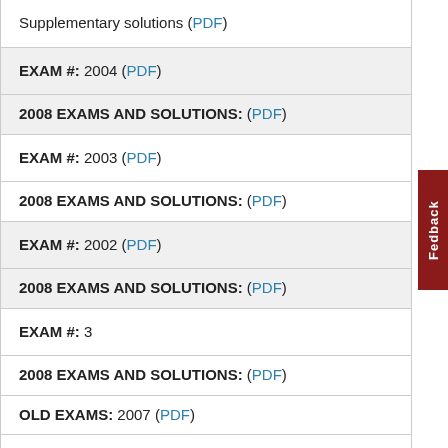Supplementary solutions (PDF)
EXAM #: 2004 (PDF)
2008 EXAMS AND SOLUTIONS: (PDF)
EXAM #: 2003 (PDF)
2008 EXAMS AND SOLUTIONS: (PDF)
EXAM #: 2002 (PDF)
2008 EXAMS AND SOLUTIONS: (PDF)
EXAM #: 3
2008 EXAMS AND SOLUTIONS: (PDF)
OLD EXAMS: 2007 (PDF)